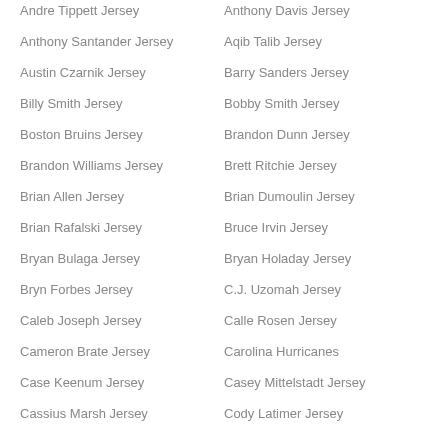Andre Tippett Jersey
Anthony Davis Jersey
Anthony Santander Jersey
Aqib Talib Jersey
Austin Czarnik Jersey
Barry Sanders Jersey
Billy Smith Jersey
Bobby Smith Jersey
Boston Bruins Jersey
Brandon Dunn Jersey
Brandon Williams Jersey
Brett Ritchie Jersey
Brian Allen Jersey
Brian Dumoulin Jersey
Brian Rafalski Jersey
Bruce Irvin Jersey
Bryan Bulaga Jersey
Bryan Holaday Jersey
Bryn Forbes Jersey
C.J. Uzomah Jersey
Caleb Joseph Jersey
Calle Rosen Jersey
Cameron Brate Jersey
Carolina Hurricanes
Case Keenum Jersey
Casey Mittelstadt Jersey
Cassius Marsh Jersey
Cody Latimer Jersey